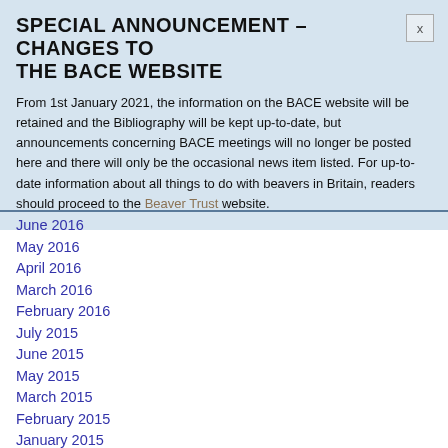SPECIAL ANNOUNCEMENT – CHANGES TO THE BACE WEBSITE
From 1st January 2021, the information on the BACE website will be retained and the Bibliography will be kept up-to-date, but announcements concerning BACE meetings will no longer be posted here and there will only be the occasional news item listed. For up-to-date information about all things to do with beavers in Britain, readers should proceed to the Beaver Trust website.
June 2016
May 2016
April 2016
March 2016
February 2016
July 2015
June 2015
May 2015
March 2015
February 2015
January 2015
December 2014
October 2014